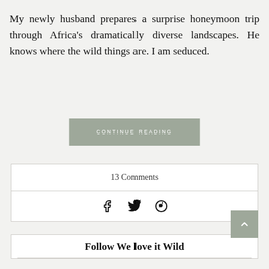My newly husband prepares a surprise honeymoon trip through Africa’s dramatically diverse landscapes. He knows where the wild things are. I am seduced.
CONTINUE READING
13 Comments
[Figure (infographic): Social sharing icons: Facebook (f), Twitter (bird/y), Pinterest (P circle)]
Follow We love it Wild